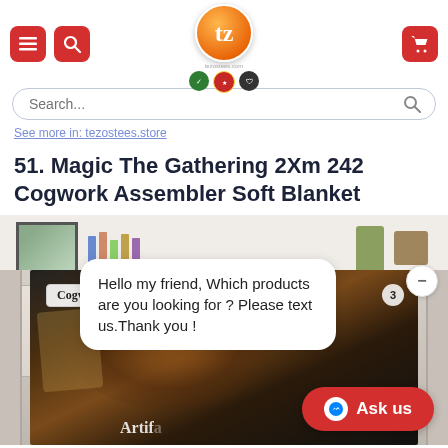Navigation header with menu, search, logo, and cart icons
See more in...
51. Magic The Gathering 2Xm 242 Cogwork Assembler Soft Blanket
[Figure (photo): Product photo of a Magic The Gathering Cogwork Assembler soft blanket displayed on a sofa in a living room setting, with a customer chat popup saying 'Hello my friend, Which products are you looking for ? Please text us.Thank you !' and an 'Ask us' button.]